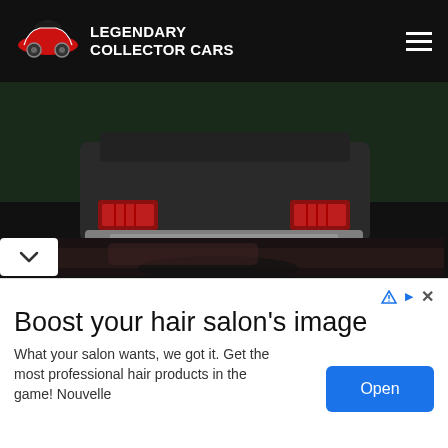Legendary Collector Cars
[Figure (photo): Dark photo of a classic car rear end, showing chrome bumper and tail lights, on a dark green/grey surface]
Richard  November 5, 2011  1  61
Mercury Turnpike Cruiser
One of the cars Katrina and I lust over is the 57 and 58 Mercury Turnpike Cruiser. These cars...
Read More »
[Figure (photo): Partial preview of next article car photo]
Boost your hair salon's image
What your salon wants, we got it. Get the most professional hair products in the game! Nouvelle
Open